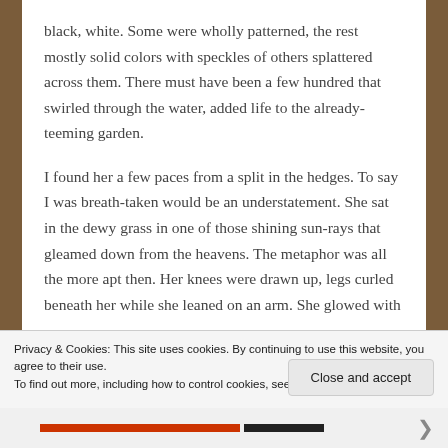black, white. Some were wholly patterned, the rest mostly solid colors with speckles of others splattered across them. There must have been a few hundred that swirled through the water, added life to the already-teeming garden.
I found her a few paces from a split in the hedges. To say I was breath-taken would be an understatement. She sat in the dewy grass in one of those shining sun-rays that gleamed down from the heavens. The metaphor was all the more apt then. Her knees were drawn up, legs curled beneath her while she leaned on an arm. She glowed with an aura of the sunlight– or maybe it was her angelic
Privacy & Cookies: This site uses cookies. By continuing to use this website, you agree to their use.
To find out more, including how to control cookies, see here: Cookie Policy